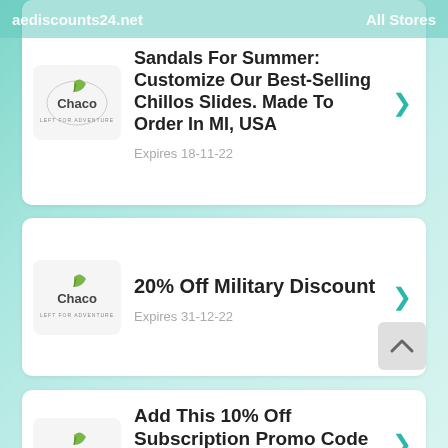aediscounts24.net    All Stores
Sandals For Summer: Customize Our Best-Selling Chillos Slides. Made To Order In MI, USA
Expires 18-11-22
20% Off Military Discount
Expires 31-12-22
Add This 10% Off Subscription Promo Code To Your Next Chaco Order